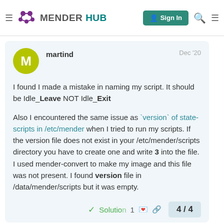MENDER HUB — Sign In
martind   Dec '20
I found I made a mistake in naming my script. It should be Idle_Leave NOT Idle_Exit

Also I encountered the same issue as `version` of state-scripts in /etc/mender when I tried to run my scripts. If the version file does not exist in your /etc/mender/scripts directory you have to create one and write 3 into the file. I used mender-convert to make my image and this file was not present. I found version file in /data/mender/scripts but it was empty.
✓ Solution   1   4 / 4